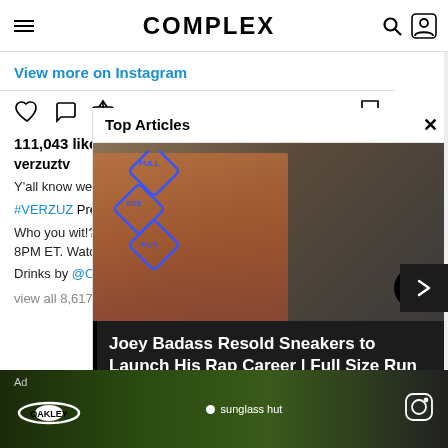COMPLEX
View more on Instagram
111,043 likes
verzuztv
Y'all know we had t...
#VERZUZ Presents... @TooShort
Who you wit!? Tune... 8PM ET. Watch on...
Drinks by @Ciroc
view all 8,617 comm...
[Figure (screenshot): Top Articles overlay showing Full Size Run logo and Joey Badass article thumbnail with a man in black t-shirt in front of Nike sneaker boxes]
Joey Badass Resold Sneakers to Launch His Rap Career | Full Size Run
[Figure (photo): Oakley and Sunglass Hut advertisement banner with person wearing sunglasses on green background]